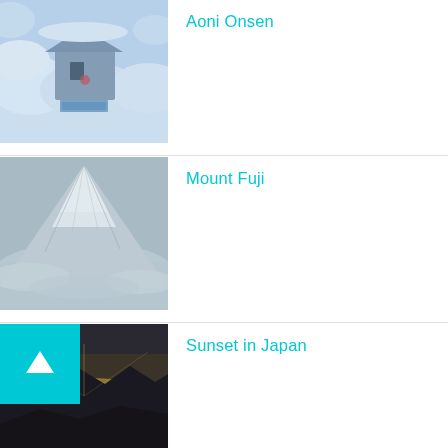[Figure (photo): Snowy winter scene at Aoni Onsen, a traditional Japanese inn covered in deep snow with a stream running through]
Aoni Onsen
[Figure (photo): Mount Fuji with snow-capped peak against a grey overcast sky]
Mount Fuji
[Figure (photo): Sunset in Japan with dramatic dark mountains silhouetted against a golden sky]
Sunset in Japan